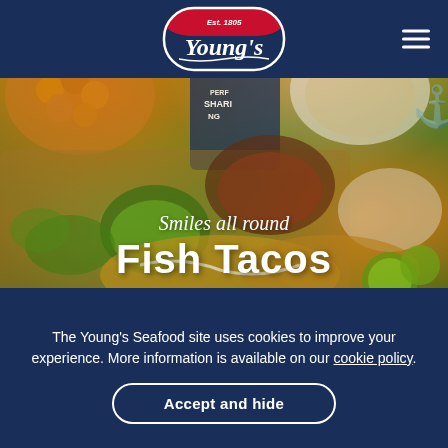[Figure (logo): Young's Seafood logo — Est. 1805, oval shape with red and navy blue, gothic-style lettering]
[Figure (photo): Food photography showing fish tacos with guacamole, salsa, toppings, limes, and Young's Seafood product packaging. Text overlay reads 'Smiles all round' and 'Fish Tacos'.]
Smiles all round
Fish Tacos
The Young's Seafood site uses cookies to improve your experience. More information is available on our cookie policy.
Accept and hide